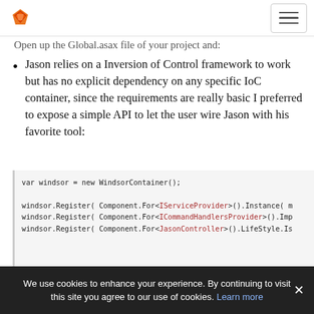[Logo] [Navigation hamburger button]
Open up the Global.asax file of your project and:
Jason relies on a Inversion of Control framework to work but has no explicit dependency on any specific IoC container, since the requirements are really basic I preferred to expose a simple API to let the user wire Jason with his favorite tool:
var windsor = new WindsorContainer();

windsor.Register( Component.For<IServiceProvider>().Instance( m
windsor.Register( Component.For<ICommandHandlersProvider>().Imp
windsor.Register( Component.For<JasonController>().LifeStyle.Is
Right after the MVC initialization code we are creating a new instance of Castle Windsor adding a
We use cookies to enhance your experience. By continuing to visit this site you agree to our use of cookies. Learn more